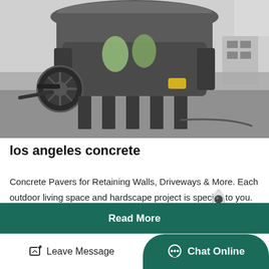[Figure (photo): Industrial cone crusher machine photographed in a workshop/factory setting. Large heavy machinery with pulley wheel, metal body, and support legs visible on concrete floor.]
los angeles concrete
Concrete Pavers for Retaining Walls, Driveways & More. Each outdoor living space and hardscape project is specific to you. From permeable pavers for a driveway project, travertine pavers for a po...
Read More
Leave Message
Chat Online